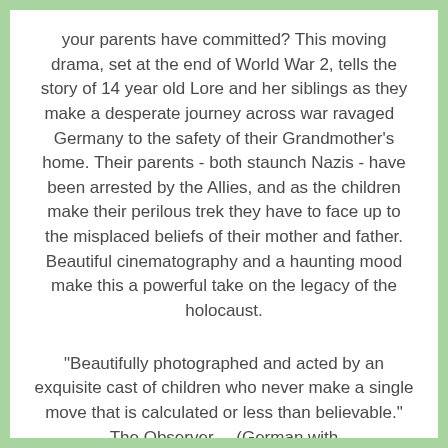your parents have committed? This moving drama, set at the end of World War 2, tells the story of 14 year old Lore and her siblings as they make a desperate journey across war ravaged   Germany to the safety of their Grandmother's home. Their parents - both staunch Nazis - have been arrested by the Allies, and as the children make their perilous trek they have to face up to the misplaced beliefs of their mother and father. Beautiful cinematography and a haunting mood make this a powerful take on the legacy of the holocaust.
"Beautifully photographed and acted by an exquisite cast of children who never make a single move that is calculated or less than believable." The Observer.    (German with